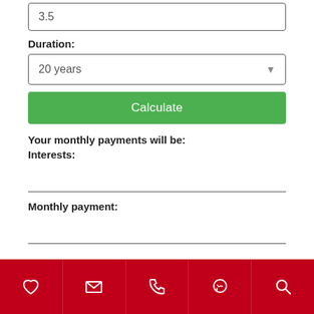3.5
Duration:
20 years
Calculate
Your monthly payments will be:
Interests:
Monthly payment:
[Figure (screenshot): Mobile app bottom navigation bar with red background containing 5 icons: heart (favorites), envelope (email), phone, WhatsApp/chat bubble, and search magnifying glass]